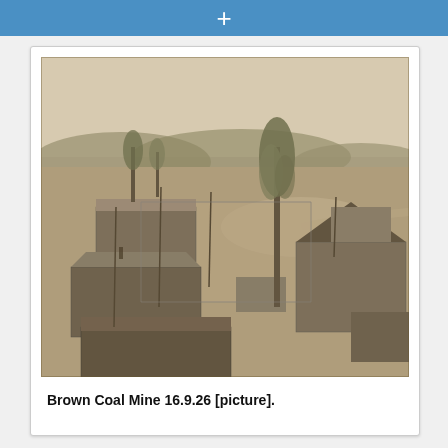+
[Figure (photo): Historical sepia-toned aerial/elevated photograph of the Brown Coal Mine dated 16.9.26, showing mine buildings, corrugated iron sheds, fenced areas, a tall eucalyptus tree in the centre, roads, telegraph poles, and forested hills in the background.]
Brown Coal Mine 16.9.26 [picture].